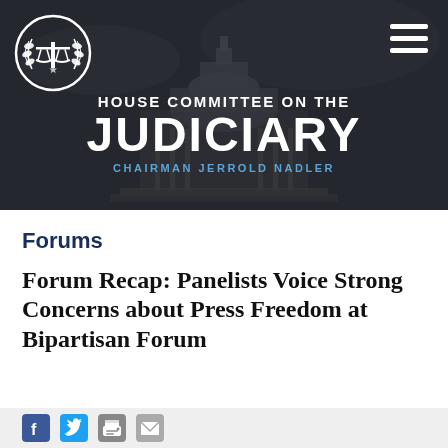[Figure (illustration): House Committee on the Judiciary banner with US Capitol building background, scales of justice logo circle top left, hamburger menu top right, white bold HOUSE COMMITTEE ON THE JUDICIARY text, blue CHAIRMAN JERROLD NADLER subtitle]
Forums
Forum Recap: Panelists Voice Strong Concerns about Press Freedom at Bipartisan Forum
[Figure (illustration): Social sharing icons bar: Facebook, Twitter, print, email]